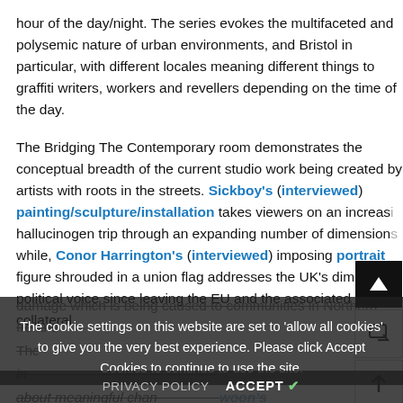hour of the day/night. The series evokes the multifaceted and polysemic nature of urban environments, and Bristol in particular, with different locales meaning different things to graffiti writers, workers and revellers depending on the time of the day.
The Bridging The Contemporary room demonstrates the conceptual breadth of the current studio work being created by artists with roots in the streets. Sickboy's (interviewed) painting/sculpture/installation takes viewers on an increasing hallucinogen trip through an expanding number of dimensions; while, Conor Harrington's (interviewed) imposing portrait figure shrouded in a union flag addresses the UK's diminished political voice since leaving the EU and the associated collateral damage which is being caused to communities in Northern Ireland...
The cookie settings on this website are set to 'allow all cookies' to give you the very best experience. Please click Accept Cookies to continue to use the site.